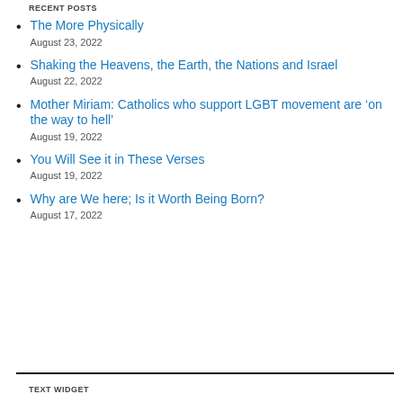RECENT POSTS
The More Physically
August 23, 2022
Shaking the Heavens, the Earth, the Nations and Israel
August 22, 2022
Mother Miriam: Catholics who support LGBT movement are ‘on the way to hell’
August 19, 2022
You Will See it in These Verses
August 19, 2022
Why are We here; Is it Worth Being Born?
August 17, 2022
TEXT WIDGET